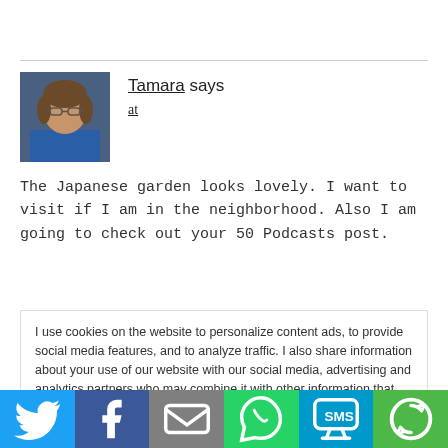Tamara says
at
[Figure (photo): Profile photo of Tamara, a woman with glasses and shoulder-length hair]
The Japanese garden looks lovely. I want to visit if I am in the neighborhood. Also I am going to check out your 50 Podcasts post.
I use cookies on the website to personalize content ads, to provide social media features, and to analyze traffic. I also share information about your use of our website with our social media, advertising and analytics partners who may combine it with other information that you've provided to them or that they've collected from your use of their services. Read full policy.
Cookie Policy